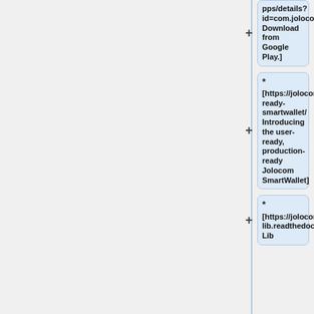pps/details?id=com.jolocomwallet Download from Google Play.]
* [https://jolocom.io/blog/production-ready-smartwallet/ Introducing the user-ready, production-ready Jolocom SmartWallet]
* [https://jolocom-lib.readthedocs.io/_/downloads/en/latest/pdf/Jolocom-Lib